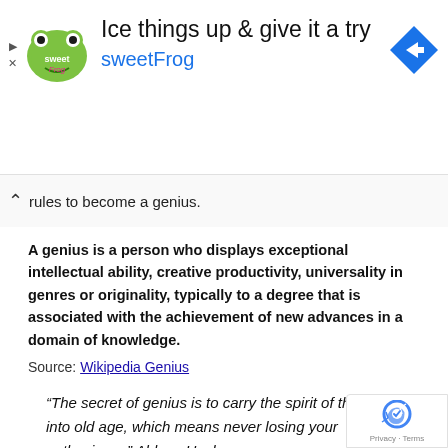[Figure (screenshot): sweetFrog advertisement banner with logo, headline 'Ice things up & give it a try', subhead 'sweetFrog', and navigation icon]
...simple rules to become a genius.
A genius is a person who displays exceptional intellectual ability, creative productivity, universality in genres or originality, typically to a degree that is associated with the achievement of new advances in a domain of knowledge.
Source: Wikipedia Genius
“The secret of genius is to carry the spirit of the child into old age, which means never losing your enthusiasm.” Aldous Huxley